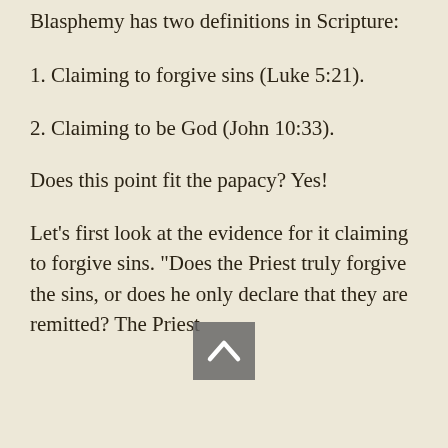Blasphemy has two definitions in Scripture:
1. Claiming to forgive sins (Luke 5:21).
2. Claiming to be God (John 10:33).
Does this point fit the papacy? Yes!
Let's first look at the evidence for it claiming to forgive sins. "Does the Priest truly forgive the sins, or does he only declare that they are remitted? The Priest